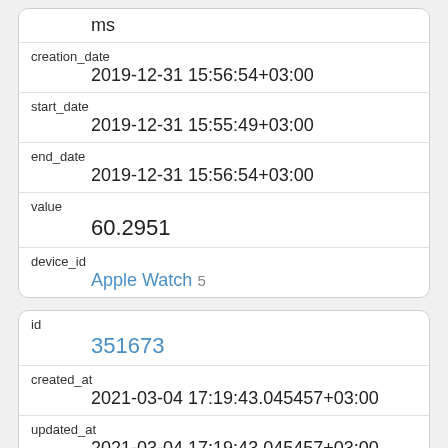| ms |  |
| creation_date | 2019-12-31 15:56:54+03:00 |
| start_date | 2019-12-31 15:55:49+03:00 |
| end_date | 2019-12-31 15:56:54+03:00 |
| value | 60.2951 |
| device_id | Apple Watch 5 |
| id | 351673 |
| created_at | 2021-03-04 17:19:43.045457+03:00 |
| updated_at | 2021-03-04 17:19:43.045457+03:00 |
| deleted_at |  |